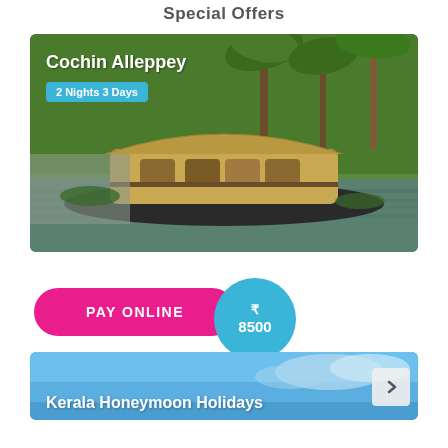Special Offers
[Figure (photo): Houseboat on Kerala backwaters with palm trees and lush green vegetation reflected in calm water. Image shows 'Cochin Alleppey' text overlay and '2 Nights 3 Days' badge.]
₹ 8500
PAY ONLINE
[Figure (photo): Kerala Honeymoon Holidays - blue sky with light clouds, beginning of a second travel offer card.]